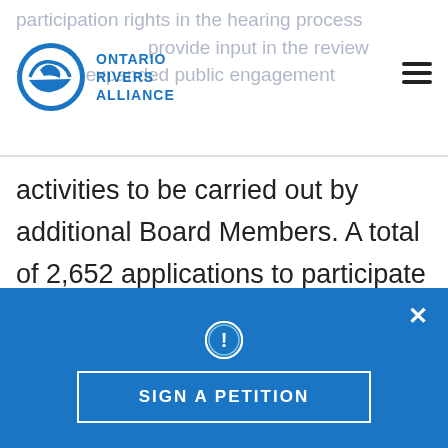participation rights in the hearing process provide input in the review through expanded public engagement
[Figure (logo): Ontario Rivers Alliance logo — blue circular wave icon with ONTARIO RIVERS ALLIANCE text in blue to the right]
activities to be carried out by additional Board Members. A total of 2,652 applications to participate in the Energy East and Eastern Mainline hearing were received by the NEB. Of those, over 100 were duplicates and approximately 1,450 were submissions of a form letter about climate change and upstream greenhouse
SIGN A PETITION